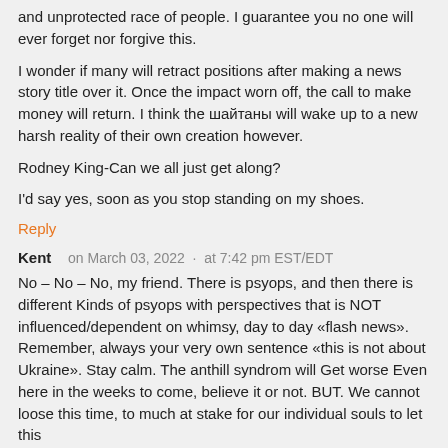and unprotected race of people. I guarantee you no one will ever forget nor forgive this.
I wonder if many will retract positions after making a news story title over it. Once the impact worn off, the call to make money will return. I think the шайтаны will wake up to a new harsh reality of their own creation however.
Rodney King-Can we all just get along?
I'd say yes, soon as you stop standing on my shoes.
Reply
Kent   on March 03, 2022  ·  at 7:42 pm EST/EDT
No – No – No, my friend. There is psyops, and then there is different Kinds of psyops with perspectives that is NOT influenced/dependent on whimsy, day to day «flash news». Remember, always your very own sentence «this is not about Ukraine». Stay calm. The anthill syndrom will Get worse Even here in the weeks to come, believe it or not. BUT. We cannot loose this time, to much at stake for our individual souls to let this